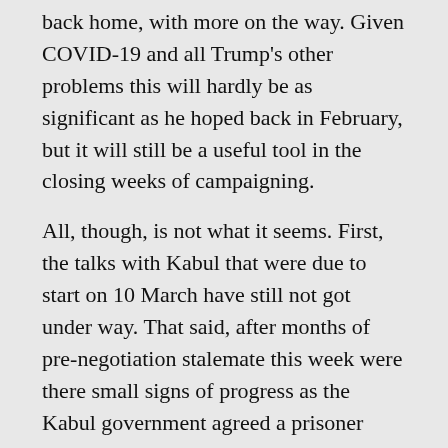back home, with more on the way. Given COVID-19 and all Trump's other problems this will hardly be as significant as he hoped back in February, but it will still be a useful tool in the closing weeks of campaigning.
All, though, is not what it seems. First, the talks with Kabul that were due to start on 10 March have still not got under way. That said, after months of pre-negotiation stalemate this week were there small signs of progress as the Kabul government agreed a prisoner release and the Taliban responded with a three-day ceasefire over the Eid holiday.
Taliban in
Second, even if talks do start, the Taliban have meanwhile been engaged in a carefully calibrated campaign to undermine the Afghan government while